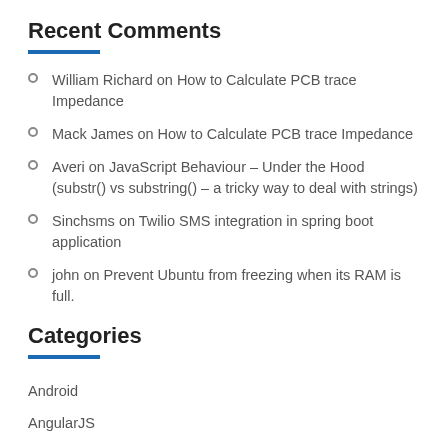Recent Comments
William Richard on How to Calculate PCB trace Impedance
Mack James on How to Calculate PCB trace Impedance
Averi on JavaScript Behaviour – Under the Hood (substr() vs substring() – a tricky way to deal with strings)
Sinchsms on Twilio SMS integration in spring boot application
john on Prevent Ubuntu from freezing when its RAM is full.
Categories
Android
AngularJS
Backbone.js